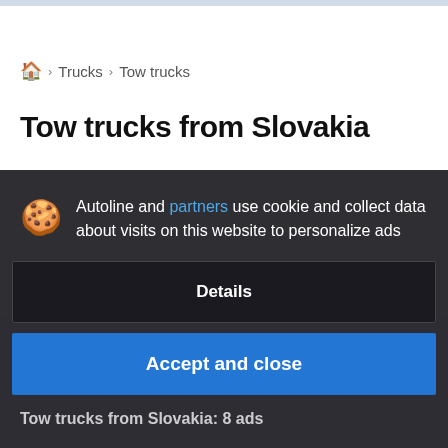🏠 > Trucks > Tow trucks
Tow trucks from Slovakia
Autoline and partners use cookie and collect data about visits on this website to personalize ads
Details
Accept and close
Tow trucks from Slovakia: 8 ads